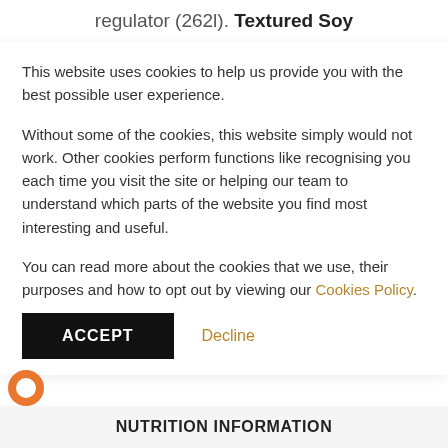regulator (262l). Textured Soy
This website uses cookies to help us provide you with the best possible user experience.
Without some of the cookies, this website simply would not work. Other cookies perform functions like recognising you each time you visit the site or helping our team to understand which parts of the website you find most interesting and useful.
You can read more about the cookies that we use, their purposes and how to opt out by viewing our Cookies Policy.
ACCEPT
Decline
NUTRITION INFORMATION